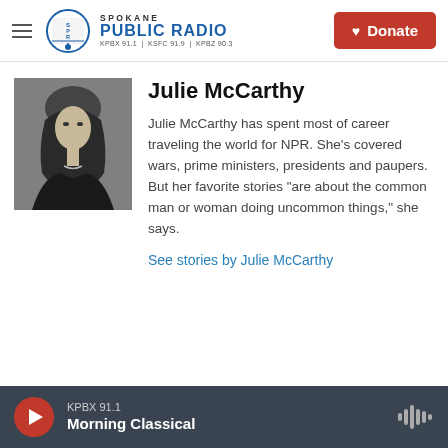SPOKANE PUBLIC RADIO — KPBX 91.1 | KSFC 91.9 | KPBZ 90.3 — Donate
[Figure (photo): Black and white portrait photo of Julie McCarthy, a woman with long dark hair.]
Julie McCarthy
Julie McCarthy has spent most of career traveling the world for NPR. She's covered wars, prime ministers, presidents and paupers. But her favorite stories "are about the common man or woman doing uncommon things," she says.
See stories by Julie McCarthy
KPBX 91.1 — Morning Classical